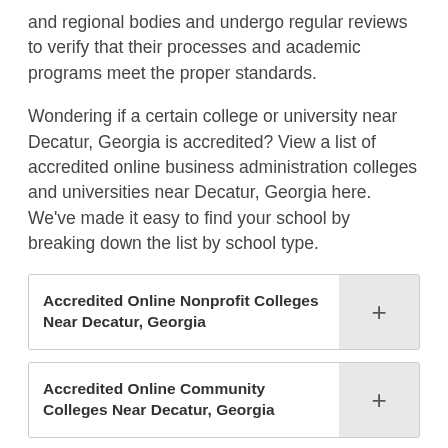and regional bodies and undergo regular reviews to verify that their processes and academic programs meet the proper standards.
Wondering if a certain college or university near Decatur, Georgia is accredited? View a list of accredited online business administration colleges and universities near Decatur, Georgia here. We've made it easy to find your school by breaking down the list by school type.
Accredited Online Nonprofit Colleges Near Decatur, Georgia
Accredited Online Community Colleges Near Decatur, Georgia